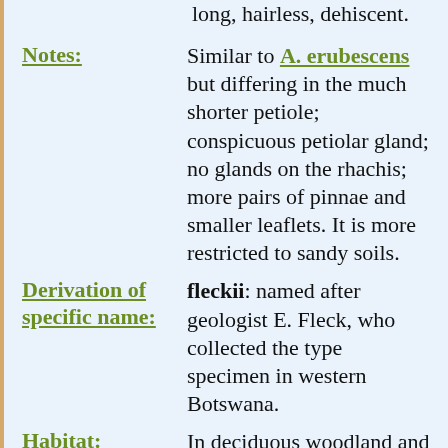long, hairless, dehiscent.
Notes: Similar to A. erubescens but differing in the much shorter petiole; conspicuous petiolar gland; no glands on the rhachis; more pairs of pinnae and smaller leaflets. It is more restricted to sandy soils.
Derivation of specific name: fleckii: named after geologist E. Fleck, who collected the type specimen in western Botswana.
Habitat: In deciduous woodland and thickets, mostly on Kalahari sand.
Flowering time: Nov - Mar
Worldwide distribution: Angola, Botswana, Namibia, Zambia, Zimbabwe and North-